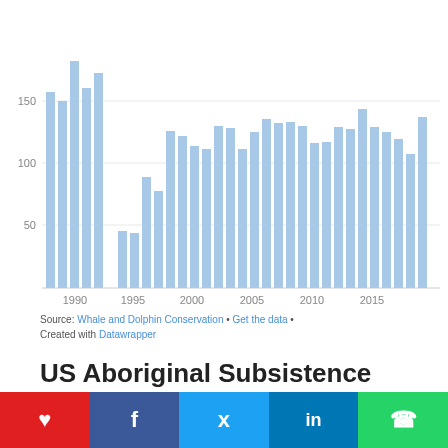[Figure (bar-chart): US Aboriginal Subsistence Whaling (1987–2019)]
Source: Whale and Dolphin Conservation • Get the data • Created with Datawrapper
US Aboriginal Subsistence Whaling by Species (1987-2019)